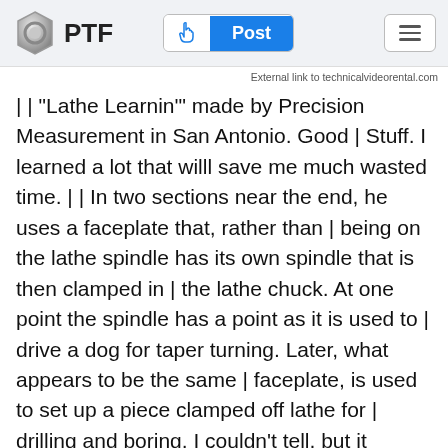PTF  Post
External link to technicalvideorental.com
| | "Lathe Learnin'" made by Precision Measurement in San Antonio. Good | Stuff. I learned a lot that willl save me much wasted time. | | In two sections near the end, he uses a faceplate that, rather than | being on the lathe spindle has its own spindle that is then clamped in | the lathe chuck. At one point the spindle has a point as it is used to | drive a dog for taper turning. Later, what appears to be the same | faceplate, is used to set up a piece clamped off lathe for | drilling and boring. I couldn't tell, but it seems that the center point | would be in the way for this operation. No mention was made either time | about the face plate and spindle itself. | | So -- this